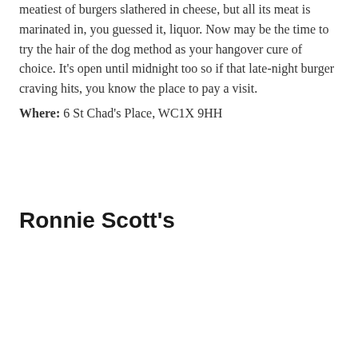meatiest of burgers slathered in cheese, but all its meat is marinated in, you guessed it, liquor. Now may be the time to try the hair of the dog method as your hangover cure of choice. It's open until midnight too so if that late-night burger craving hits, you know the place to pay a visit.
Where: 6 St Chad's Place, WC1X 9HH
Ronnie Scott's